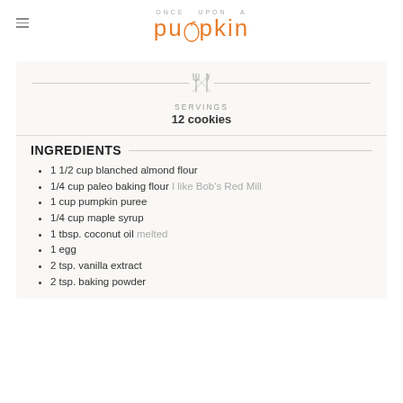ONCE UPON A pumpkin
SERVINGS
12 cookies
INGREDIENTS
1 1/2 cup blanched almond flour
1/4 cup paleo baking flour I like Bob's Red Mill
1 cup pumpkin puree
1/4 cup maple syrup
1 tbsp. coconut oil melted
1 egg
2 tsp. vanilla extract
2 tsp. baking powder